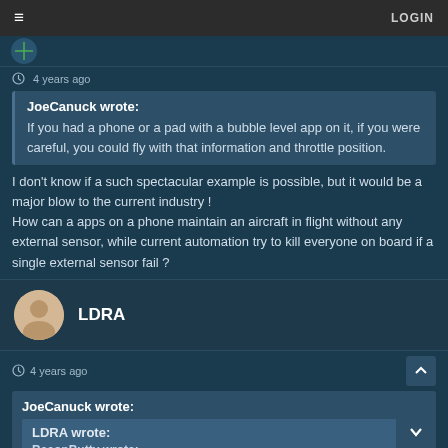☰  LOGIN
4 years ago
JoeCanuck wrote: If you had a phone or a pad with a bubble level app on it, if you were careful, you could fly with that information and throttle position.
I don't know if a such spectacular example is possible, but it would be a major blow to the current industry !
How can a apps on a phone maintain an aircraft in flight without any external sensor, while current automation try to kill everyone on board if a single external sensor fail ?
LDRA
4 years ago
JoeCanuck wrote:
LDRA wrote:
BaconButty wrote: